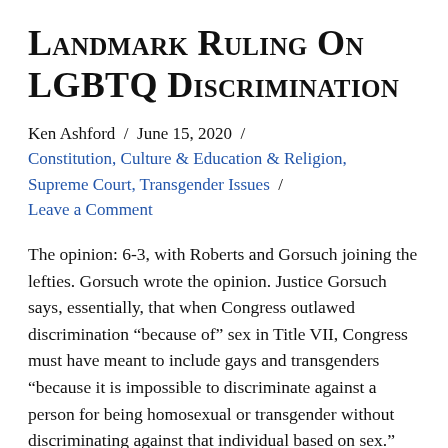Landmark Ruling On LGBTQ Discrimination
Ken Ashford / June 15, 2020 / Constitution, Culture & Education & Religion, Supreme Court, Transgender Issues / Leave a Comment
The opinion: 6-3, with Roberts and Gorsuch joining the lefties. Gorsuch wrote the opinion. Justice Gorsuch says, essentially, that when Congress outlawed discrimination “because of” sex in Title VII, Congress must have meant to include gays and transgenders “because it is impossible to discriminate against a person for being homosexual or transgender without discriminating against that individual based on sex.” Gorsuch is … Read More